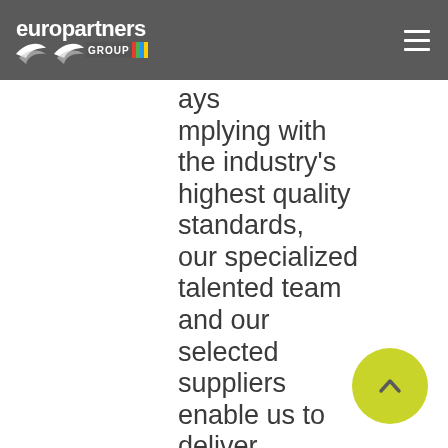europartners GROUP
ays mplying with the industry's highest quality standards, our specialized talented team and our selected suppliers enable us to deliver pharmaceutic products and medical equipment, safely and punctually, committed to constantly
[Figure (other): Yellow circular scroll-to-top button with an upward caret arrow]